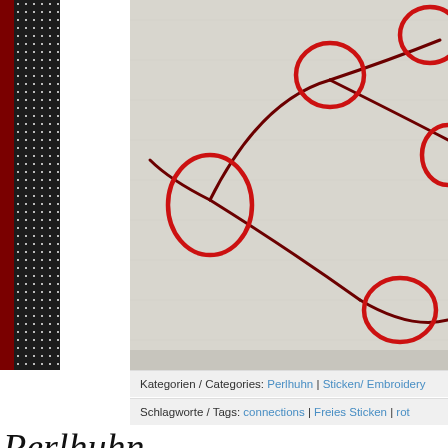[Figure (photo): Close-up photograph of red embroidery stitches on white linen fabric, showing circular/oval shapes connected by red thread lines, resembling cell or node patterns. The embroidery is done in red thread with some dark thread outlines.]
Kategorien / Categories: Perlhuhn | Sticken/ Embroidery
Schlagworte / Tags: connections | Freies Sticken | rot
Perlhuhn
Kette / necklace
[Figure (photo): Small logo/avatar icon showing a stylized guinea fowl (Perlhuhn) illustration.]
[Figure (photo): Partial view of what appears to be a necklace or chain on a blue/gray background, visible at the bottom of the page.]